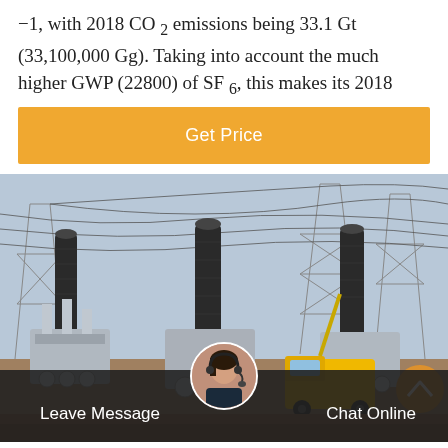−1, with 2018 CO 2 emissions being 33.1 Gt (33,100,000 Gg). Taking into account the much higher GWP (22800) of SF 6, this makes its 2018
Get Price
[Figure (photo): Photograph of a high-voltage electrical substation with large transformers, insulators, cables, metal lattice towers, and a yellow utility truck]
Leave Message
Chat Online